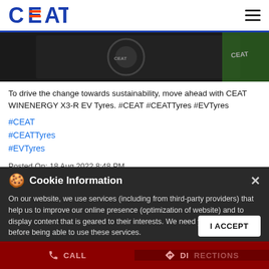CEAT
[Figure (screenshot): Partial view of a dark product image showing a CEAT tyre on a dark background with green accent]
To drive the change towards sustainability, move ahead with CEAT WINENERGY X3-R EV Tyres. #CEAT #CEATTyres #EVTyres
#CEAT
#CEATTyres
#EVTyres
Posted On: 18 Aug 2022 8:48 PM
Cookie Information
On our website, we use services (including from third-party providers) that help us to improve our online presence (optimization of website) and to display content that is geared to their interests. We need your consent before being able to use these services.
CALL   DIRECTIONS